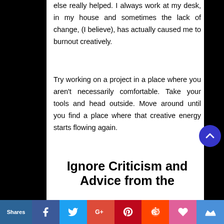else really helped. I always work at my desk, in my house and sometimes the lack of change, (I believe), has actually caused me to burnout creatively.
Try working on a project in a place where you aren't necessarily comfortable. Take your tools and head outside. Move around until you find a place where that creative energy starts flowing again.
Ignore Criticism and Advice from the
Shares  [Facebook] [Twitter] [Google+] [Pinterest] [Reddit] [Heart] [Crown]